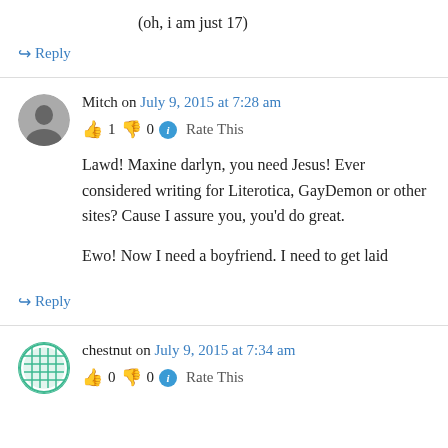(oh, i am just 17)
↳ Reply
Mitch on July 9, 2015 at 7:28 am
👍 1 👎 0 ℹ Rate This
Lawd! Maxine darlyn, you need Jesus! Ever considered writing for Literotica, GayDemon or other sites? Cause I assure you, you'd do great.

Ewo! Now I need a boyfriend. I need to get laid
↳ Reply
chestnut on July 9, 2015 at 7:34 am
👍 0 👎 0 ℹ Rate This